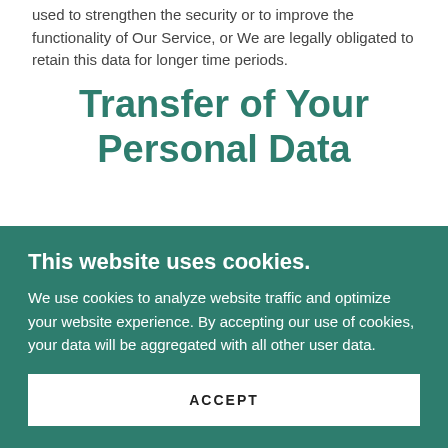used to strengthen the security or to improve the functionality of Our Service, or We are legally obligated to retain this data for longer time periods.
Transfer of Your Personal Data
Your information, including Personal Data, is
This website uses cookies.
We use cookies to analyze website traffic and optimize your website experience. By accepting our use of cookies, your data will be aggregated with all other user data.
ACCEPT